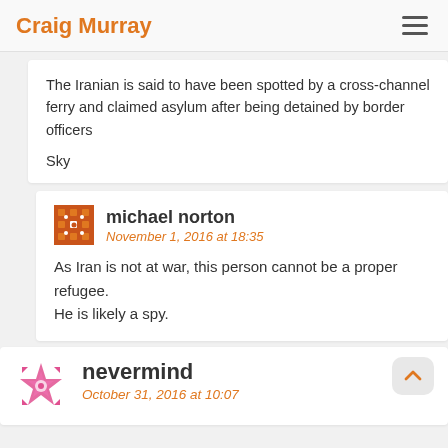Craig Murray
The Iranian is said to have been spotted by a cross-channel ferry and claimed asylum after being detained by border officers

Sky
michael norton
November 1, 2016 at 18:35
As Iran is not at war, this person cannot be a proper refugee.
He is likely a spy.
nevermind
October 31, 2016 at 10:07